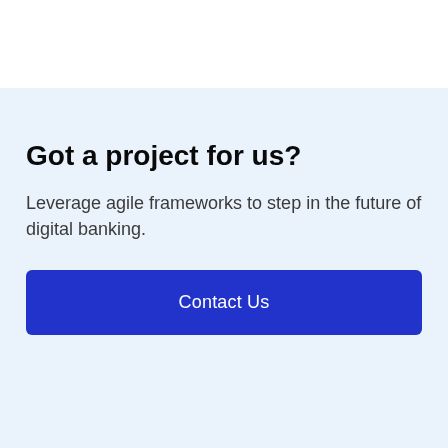Got a project for us?
Leverage agile frameworks to step in the future of digital banking.
Contact Us